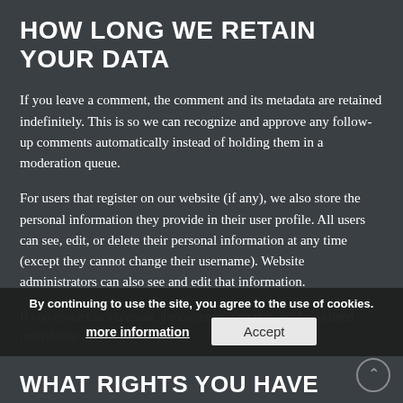HOW LONG WE RETAIN YOUR DATA
If you leave a comment, the comment and its metadata are retained indefinitely. This is so we can recognize and approve any follow-up comments automatically instead of holding them in a moderation queue.
For users that register on our website (if any), we also store the personal information they provide in their user profile. All users can see, edit, or delete their personal information at any time (except they cannot change their username). Website administrators can also see and edit that information.
If you contact us via email, the content within this will be retained indefinitely.
By continuing to use the site, you agree to the use of cookies.
more information   Accept
WHAT RIGHTS YOU HAVE